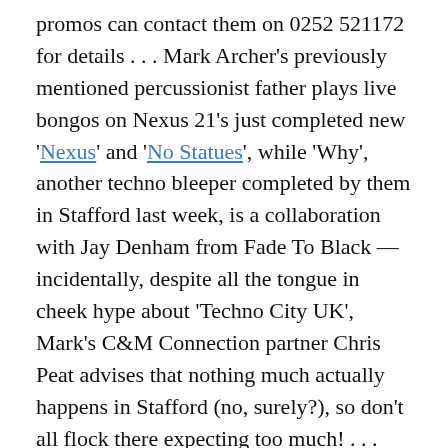promos can contact them on 0252 521172 for details . . . Mark Archer's previously mentioned percussionist father plays live bongos on Nexus 21's just completed new 'Nexus' and 'No Statues', while 'Why', another techno bleeper completed by them in Stafford last week, is a collaboration with Jay Denham from Fade To Black — incidentally, despite all the tongue in cheek hype about 'Techno City UK', Mark's C&M Connection partner Chris Peat advises that nothing much actually happens in Stafford (no, surely?), so don't all flock there expecting too much! . . .  Gracie Fields' real surname was Stansfield, but apparently she was no relation of Rochdale's other more recently famous lassie from Lancashire, Lisa . . . Love Inc. is the collective name for several of